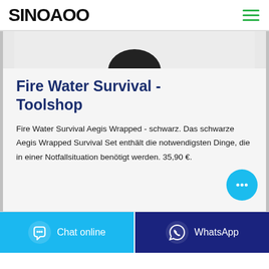SINOAOO
[Figure (photo): Partial product image – dark/black object visible at top, cropped]
Fire Water Survival - Toolshop
Fire Water Survival Aegis Wrapped - schwarz. Das schwarze Aegis Wrapped Survival Set enthält die notwendigsten Dinge, die in einer Notfallsituation benötigt werden. 35,90 €.
[Figure (other): Floating chat bubble button (cyan circle with ellipsis icon)]
[Figure (other): Chat online button (cyan button with speech bubble icon)]
[Figure (other): WhatsApp button (dark blue button with WhatsApp icon)]